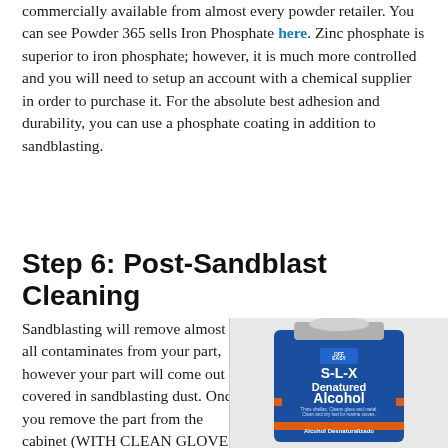commercially available from almost every powder retailer. You can see Powder 365 sells Iron Phosphate here. Zinc phosphate is superior to iron phosphate; however, it is much more controlled and you will need to setup an account with a chemical supplier in order to purchase it. For the absolute best adhesion and durability, you can use a phosphate coating in addition to sandblasting.
Step 6: Post-Sandblast Cleaning
Sandblasting will remove almost all contaminates from your part, however your part will come out covered in sandblasting dust. Once you remove the part from the cabinet (WITH CLEAN GLOVES) you can remove a
[Figure (photo): A can of S-L-X Denatured Alcohol (Alcohol Desnaturalizado) with blue and orange label]